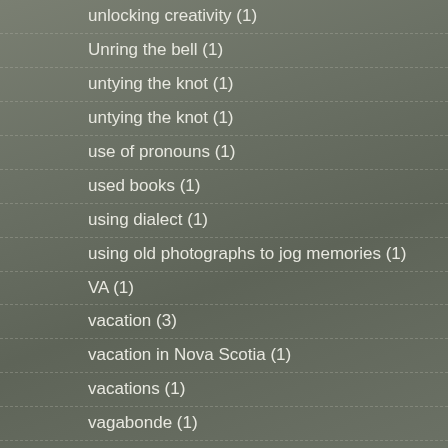unlocking creativity (1)
Unring the bell (1)
untying the knot (1)
untying the knot (1)
use of pronouns (1)
used books (1)
using dialect (1)
using old photographs to jog memories (1)
VA (1)
vacation (3)
vacation in Nova Scotia (1)
vacations (1)
vagabonde (1)
Val Nieman (2)
vampires (1)
Vicki Lane (2)
video (1)
visual artist (1)
voices of echoes across the blue ridge (1)